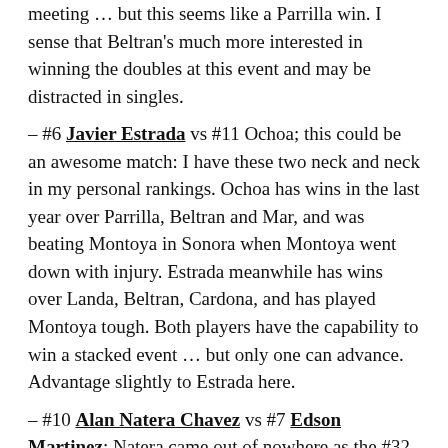meeting … but this seems like a Parrilla win. I sense that Beltran's much more interested in winning the doubles at this event and may be distracted in singles.
– #6 Javier Estrada vs #11 Ochoa; this could be an awesome match: I have these two neck and neck in my personal rankings. Ochoa has wins in the last year over Parrilla, Beltran and Mar, and was beating Montoya in Sonora when Montoya went down with injury. Estrada meanwhile has wins over Landa, Beltran, Cardona, and has played Montoya tough. Both players have the capability to win a stacked event … but only one can advance. Advantage slightly to Estrada here.
– #10 Alan Natera Chavez vs #7 Edson Martinez; Natera came out of nowhere as the #32 seed in last year's event to advance to the semis, beating Mar, Longoria and Franco along the way. Martinez was a semi finalist in this event in both 2014 and 2015, but has not come close to repeating that performance since. I give the edge to Natera here.